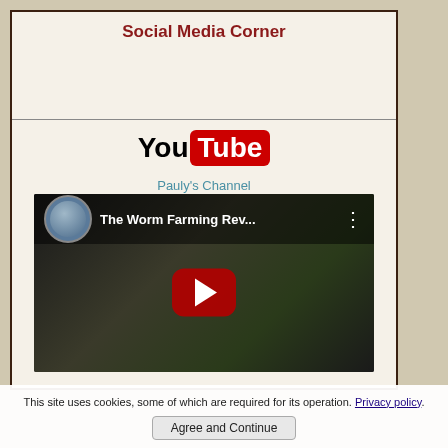Social Media Corner
[Figure (logo): YouTube logo: 'You' in black bold text followed by 'Tube' in white bold text on a red rounded rectangle]
Pauly's Channel
[Figure (screenshot): YouTube video thumbnail showing 'The Worm Farming Rev...' with a person's avatar, dark background with plants, and a red play button in the center]
This site uses cookies, some of which are required for its operation. Privacy policy.
Agree and Continue